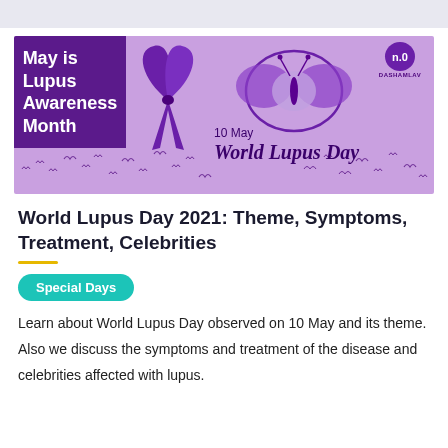[Figure (infographic): World Lupus Awareness Month banner with purple background, purple left box saying 'May is Lupus Awareness Month', a purple awareness ribbon, a butterfly/globe graphic, DASHAMLAV logo in top right, butterflies silhouettes, and text '10 May World Lupus Day']
World Lupus Day 2021: Theme, Symptoms, Treatment, Celebrities
Special Days
Learn about World Lupus Day observed on 10 May and its theme. Also we discuss the symptoms and treatment of the disease and celebrities affected with lupus.